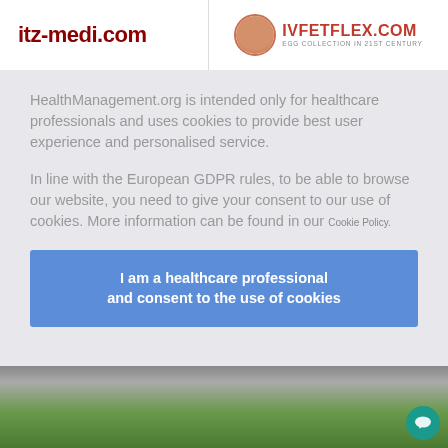[Figure (logo): itz-medi.com logo text in dark red bold font]
[Figure (logo): IVFETFLEX.COM logo with circular face icon and tagline EGG COLLECTION IN 21st CENTURY]
HealthManagement.org is intended only for healthcare professionals and uses cookies to provide best user experience and personalised service.
In line with the European GDPR rules, to be able to browse our website, you need to give your consent to our use of cookies. More information can be found in our Cookie Policy.
I am a healthcare professional and consent to the use of cookies
[Figure (photo): Bottom image strip showing outdoor/nature scene in green tones]